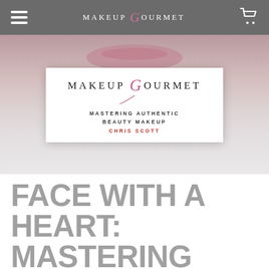MAKEUP GOURMET
[Figure (photo): Book cover for 'Makeup Gourmet: Mastering Authentic Beauty Makeup' by Chris Scott, with a background photo of lips/face]
FACE WITH A HEART: MASTERING AUTHENTIC